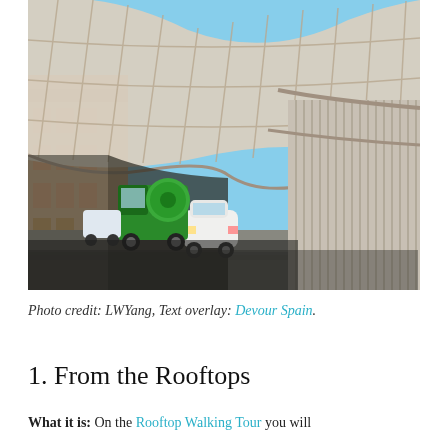[Figure (photo): Street-level view beneath the Metropol Parasol structure in Seville, Spain. The image shows the underside of a large wooden lattice canopy structure with sweeping curves. Below it, a street with a white Smart car and a green truck, and a historic building visible on the left side under blue sky.]
Photo credit: LWYang, Text overlay: Devour Spain.
1. From the Rooftops
What it is: On the Rooftop Walking Tour you will